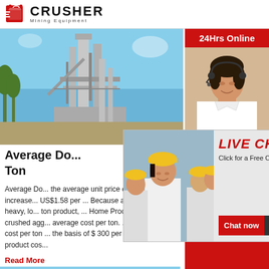[Figure (logo): Crusher Mining Equipment logo with red shopping bag icon and bold text]
[Figure (photo): Industrial mining/crushing plant facility against blue sky with tall towers and silos]
Average Do... Ton
Average Do... the average unit price of crushed stone increase... US$1.58 per ... Because aggregate is a heavy, lo... ton product, ... Home Process Plant crushed agg... average cost per ton. ... aggregate cost per ton ... the basis of $ 300 per metric ton of product cos...
Read More
[Figure (photo): Outdoor mining/quarry scene at bottom of page]
[Figure (screenshot): Live chat overlay popup with workers in hard hats, LIVE CHAT heading, Chat now and Chat later buttons]
24Hrs Online
[Figure (photo): Customer service agent with headset on right sidebar]
Need questions & suggestion?
Chat Now
Enquiry
limingjlmofen@sina.com